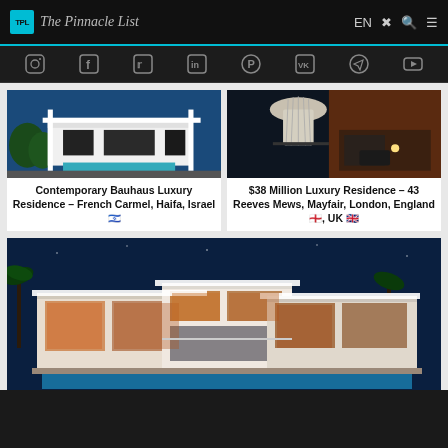The Pinnacle List — EN navigation
[Figure (screenshot): Social media icons bar: Instagram, Facebook, Twitter, LinkedIn, Pinterest, VK, Telegram, YouTube]
[Figure (photo): Contemporary Bauhaus luxury residence with pool and white geometric architecture, French Carmel, Haifa, Israel]
Contemporary Bauhaus Luxury Residence – French Carmel, Haifa, Israel 🇮🇱
[Figure (photo): $38 Million luxury residence interior with chandelier and outdoor terrace, 43 Reeves Mews, Mayfair, London, England, UK]
$38 Million Luxury Residence – 43 Reeves Mews, Mayfair, London, England 🏴󠁧󠁢󠁥󠁮󠁧󠁿, UK 🇬🇧
[Figure (photo): Modern luxury villa at night with pool and illuminated interior, wide angle view]